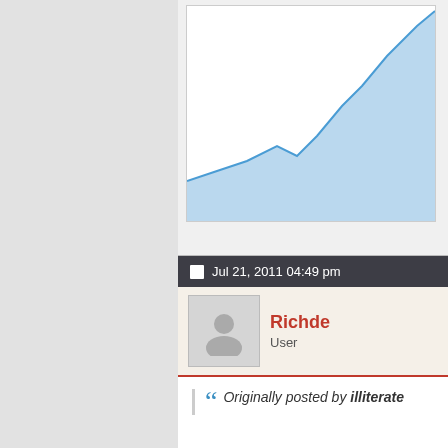[Figure (area-chart): Partial area/line chart showing upward trending data, blue filled area below the line, partially cropped at top and right edges.]
Jul 21, 2011 04:49 pm
Richde
User
Originally posted by illiterate
Richde, why you left Oanda?